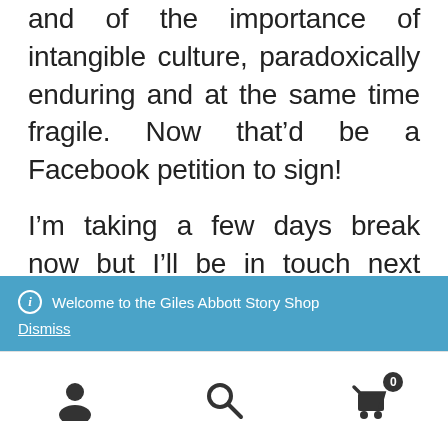and of the importance of intangible culture, paradoxically enduring and at the same time fragile. Now that'd be a Facebook petition to sign!
I'm taking a few days break now but I'll be in touch next week to share some exciting developments in the
Welcome to the Giles Abbott Story Shop
Dismiss
[Figure (infographic): Bottom navigation bar with user icon, search icon, and cart icon with badge showing 0]